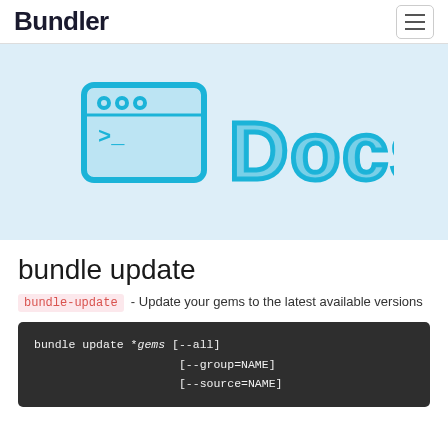Bundler
[Figure (illustration): Bundler Docs logo: a blue terminal window icon next to large blue 'Docs' text on a light blue background]
bundle update
bundle-update - Update your gems to the latest available versions
bundle update *gems [--all]
                     [--group=NAME]
                     [--source=NAME]